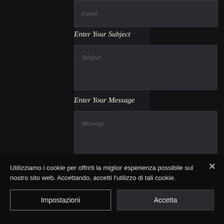Email
Enter Your Subject
Subject
Enter Your Message
Message
Utilizziamo i cookie per offrirti la miglior esperienza possibile sul nostro sito web. Accettando, accetti l'utilizzo di tali cookie.
Impostazioni
Accetta